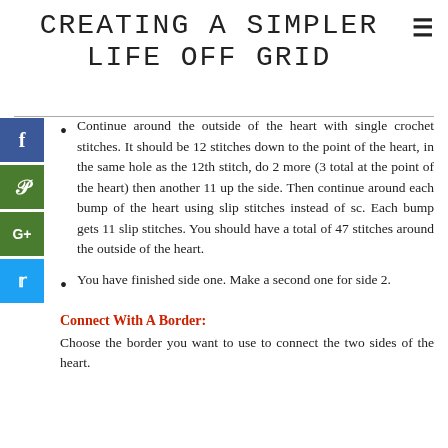CREATING A SIMPLER LIFE OFF GRID
Continue around the outside of the heart with single crochet stitches. It should be 12 stitches down to the point of the heart, in the same hole as the 12th stitch, do 2 more (3 total at the point of the heart) then another 11 up the side. Then continue around each bump of the heart using slip stitches instead of sc. Each bump gets 11 slip stitches. You should have a total of 47 stitches around the outside of the heart.
You have finished side one. Make a second one for side 2.
Connect With A Border:
Choose the border you want to use to connect the two sides of the heart.